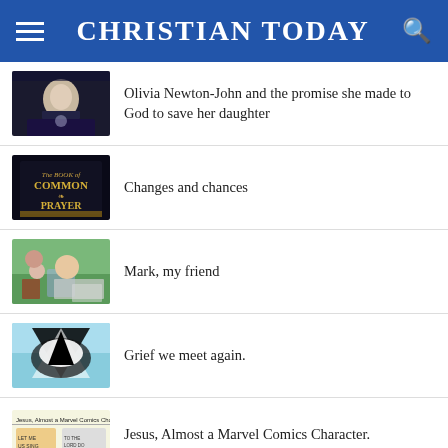CHRISTIAN TODAY
Olivia Newton-John and the promise she made to God to save her daughter
Changes and chances
Mark, my friend
Grief we meet again.
Jesus, Almost a Marvel Comics Character.